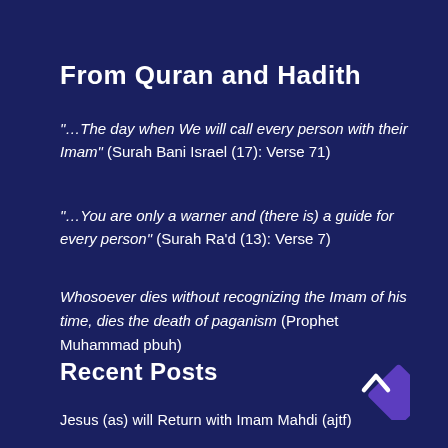From Quran and Hadith
“…The day when We will call every person with their Imam” (Surah Bani Israel (17): Verse 71)
“…You are only a warner and (there is) a guide for every person” (Surah Ra’d (13): Verse 7)
Whosoever dies without recognizing the Imam of his time, dies the death of paganism (Prophet Muhammad pbuh)
Recent Posts
[Figure (illustration): Purple diamond/rhombus shape with a white upward chevron arrow inside, used as a scroll-to-top button]
Jesus (as) will Return with Imam Mahdi (ajtf)